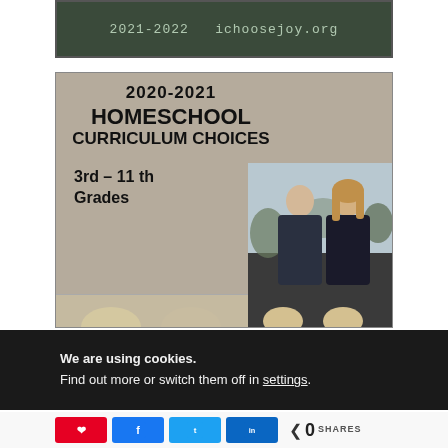[Figure (photo): Top banner image showing '2021-2022 ichoosejoy.org' text on a dark textured background]
[Figure (photo): Homeschool curriculum promotional image with text '2020-2021 Homeschool Curriculum Choices 3rd - 11th Grades' and a photo of a teenage boy and a woman smiling outdoors, with partial figures of children at bottom]
We are using cookies.
Find out more or switch them off in settings.
0 SHARES